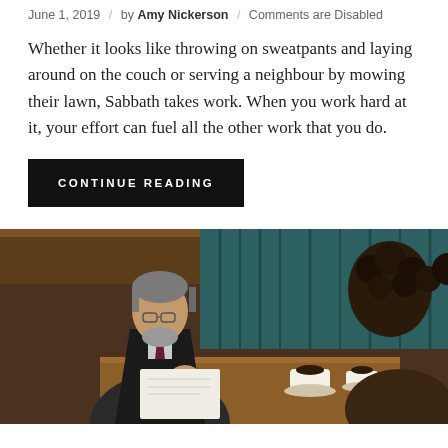June 1, 2019 / by Amy Nickerson / Comments are Disabled
Whether it looks like throwing on sweatpants and laying around on the couch or serving a neighbour by mowing their lawn, Sabbath takes work. When you work hard at it, your effort can fuel all the other work that you do.
CONTINUE READING
[Figure (photo): Two people sitting at a cafe table, one man in a suit with glasses looking down at papers, another person with curly hair across from him. Coffee cups on the table. Wood paneling in background.]